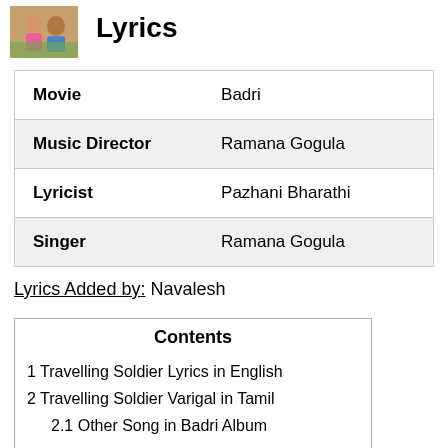[Figure (photo): Small photo of two people outdoors]
Lyrics
| Label | Value |
| --- | --- |
| Movie | Badri |
| Music Director | Ramana Gogula |
| Lyricist | Pazhani Bharathi |
| Singer | Ramana Gogula |
Lyrics Added by: Navalesh
Contents
1 Travelling Soldier Lyrics in English
2 Travelling Soldier Varigal in Tamil
2.1 Other Song in Badri Album